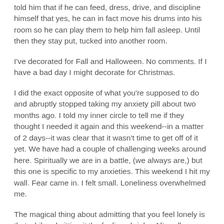told him that if he can feed, dress, drive, and discipline himself that yes, he can in fact move his drums into his room so he can play them to help him fall asleep. Until then they stay put, tucked into another room.
I've decorated for Fall and Halloween. No comments. If I have a bad day I might decorate for Christmas.
I did the exact opposite of what you're supposed to do and abruptly stopped taking my anxiety pill about two months ago. I told my inner circle to tell me if they thought I needed it again and this weekend--in a matter of 2 days--it was clear that it wasn't time to get off of it yet. We have had a couple of challenging weeks around here. Spiritually we are in a battle, (we always are,) but this one is specific to my anxieties. This weekend I hit my wall. Fear came in. I felt small. Loneliness overwhelmed me.
The magical thing about admitting that you feel lonely is that while admitting it the feeling shrinks. After all, once you confide in someone about it, you feel understood. Less lonely. So I bounced back. Actually, I got back into my place.